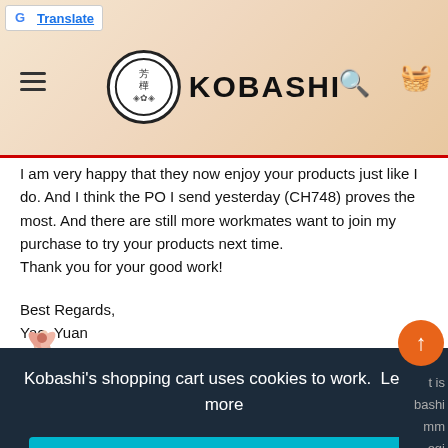Kobashi website header with Google Translate badge, hamburger menu, logo, search and cart icons
I am very happy that they now enjoy your products just like I do. And I think the PO I send yesterday (CH748) proves the most. And there are still more workmates want to join my purchase to try your products next time.
Thank you for your good work!

Best Regards,
Yao, Yuan
[Figure (illustration): Pink flower decoration]
Kobashi's shopping cart uses cookies to work.  Learn more
AGREE TO SHOP